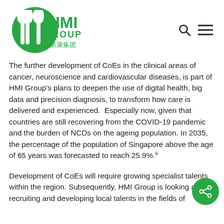[Figure (logo): HMI Group logo with green circular icon and green text reading HMI GROUP with Chinese characters 新康集团]
The further development of CoEs in the clinical areas of cancer, neuroscience and cardiovascular diseases, is part of HMI Group's plans to deepen the use of digital health, big data and precision diagnosis, to transform how care is delivered and experienced.  Especially now, given that countries are still recovering from the COVID-19 pandemic and the burden of NCDs on the ageing population. In 2035, the percentage of the population of Singapore above the age of 65 years was forecasted to reach 25.9%.iii
Development of CoEs will require growing specialist talents within the region. Subsequently, HMI Group is looking at recruiting and developing local talents in the fields of